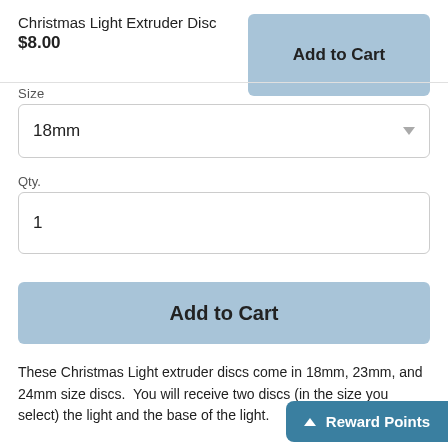Christmas Light Extruder Disc
$8.00
Size
18mm
Qty.
1
Add to Cart
These Christmas Light extruder discs come in 18mm, 23mm, and 24mm size discs.  You will receive two discs (in the size you select) the light and the base of the light.
If you're new to soap extruders check out th…e
Reward Points